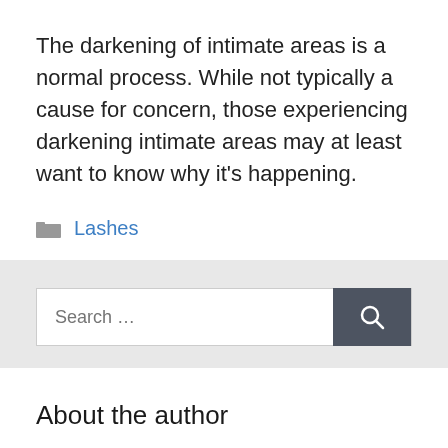The darkening of intimate areas is a normal process. While not typically a cause for concern, those experiencing darkening intimate areas may at least want to know why it's happening.
Lashes
About the author